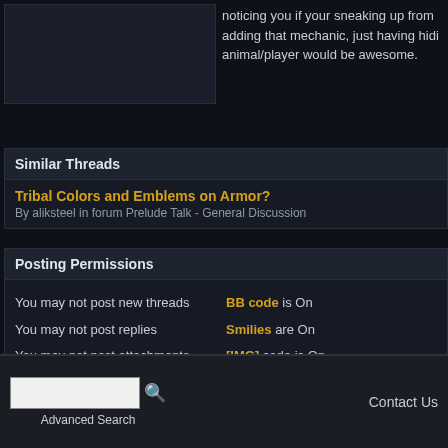noticing you if your sneaking up from adding that mechanic, just having hidi animal/player would be awesome.
Similar Threads
Tribal Colors and Emblems on Armor?
By aliksteel in forum Prelude Talk - General Discussion
Posting Permissions
You may not post new threads
You may not post replies
You may not post attachments
You may not edit your posts
BB code is On
Smilies are On
[IMG] code is On
[VIDEO] code is Off
HTML code is Off
Forum Rules
Advanced Search   Contact Us